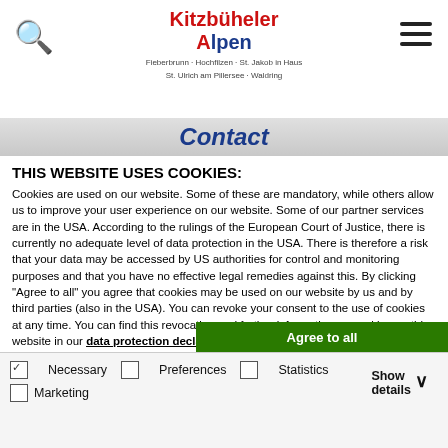[Figure (logo): Kitzbüheler Alpen logo with text Fieberbrunn - Hochfilzen - St. Jakob in Haus, St. Ulrich am Pillersee - Waldring]
Contact
THIS WEBSITE USES COOKIES:
Cookies are used on our website. Some of these are mandatory, while others allow us to improve your user experience on our website. Some of our partner services are in the USA. According to the rulings of the European Court of Justice, there is currently no adequate level of data protection in the USA. There is therefore a risk that your data may be accessed by US authorities for control and monitoring purposes and that you have no effective legal remedies against this. By clicking "Agree to all" you agree that cookies may be used on our website by us and by third parties (also in the USA). You can revoke your consent to the use of cookies at any time. You can find this revocation and further information on cookies on this website in our data protection declaration.
Agree to all
Save Selection
Only accept necessary cookies
Necessary   Preferences   Statistics   Marketing   Show details